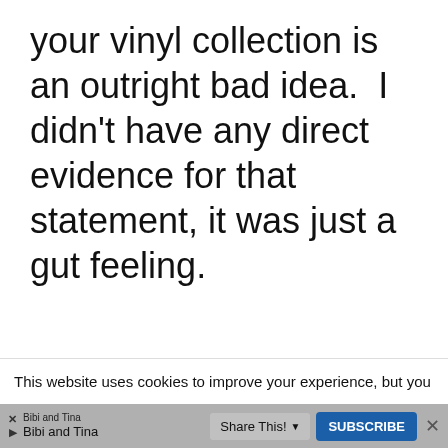your vinyl collection is an outright bad idea.  I didn't have any direct evidence for that statement, it was just a gut feeling.
This website uses cookies to improve your experience, but you
Bibi and Tina
Bibi and Tina
Share This!
SUBSCRIBE
✕